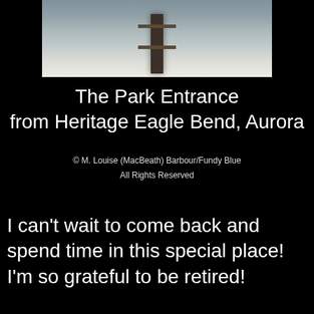[Figure (photo): A snowy park entrance with a path/railroad track leading into the distance, taken from Heritage Eagle Bend, Aurora. Winter scene with snow on the ground.]
The Park Entrance
from Heritage Eagle Bend, Aurora
© M. Louise (MacBeath) Barbour/Fundy Blue
All Rights Reserved
I can't wait to come back and spend time in this special place!
I'm so grateful to be retired!
[Figure (photo): A selfie portrait of a person with blonde hair and sunglasses on top of their head, against a bright blue sky background.]